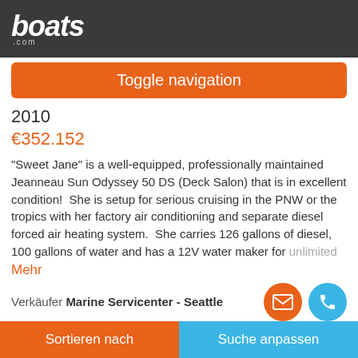[Figure (logo): boats.com logo in white italic bold text on dark gray background]
Toggle navigation
2010
€352.152
"Sweet Jane" is a well-equipped, professionally maintained Jeanneau Sun Odyssey 50 DS (Deck Salon) that is in excellent condition!  She is setup for serious cruising in the PNW or the tropics with her factory air conditioning and separate diesel forced air heating system.  She carries 126 gallons of diesel, 100 gallons of water and has a 12V water maker for unlimited
Mehr
Verkäufer Marine Servicenter - Seattle
Neuzugang
Sortieren nach    Suche anpassen